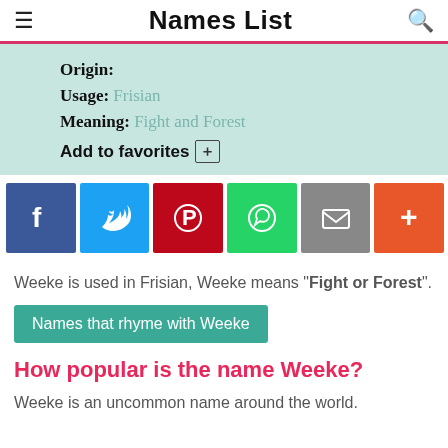Names List
Origin:
Usage: Frisian
Meaning: Fight and Forest
Add to favorites
[Figure (infographic): Social sharing icons: Facebook (blue), Twitter (light blue), Pinterest (red), WhatsApp (green), Email (gray), More/Plus (orange-red)]
Weeke is used in Frisian, Weeke means "Fight or Forest".
Names that rhyme with Weeke
How popular is the name Weeke?
Weeke is an uncommon name around the world.